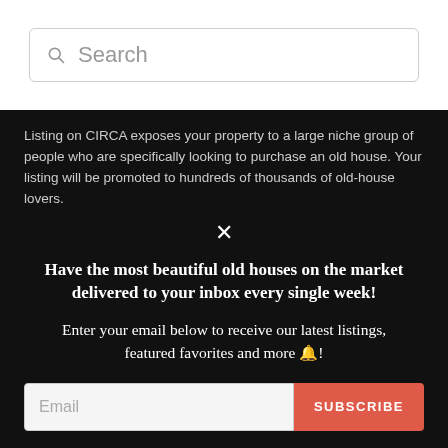[Figure (screenshot): Search bar with magnifying glass icon and placeholder text 'Search']
Listing on CIRCA exposes your property to a large niche group of people who are specifically looking to purchase an old house. Your listing will be promoted to hundreds of thousands of old-house lovers.
×
Have the most beautiful old houses on the market delivered to your inbox every single week!
Enter your email below to receive our latest listings, featured favorites and more 🔔!
Email | SUBSCRIBE